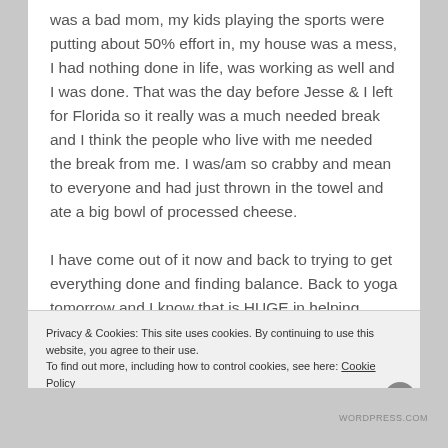was a bad mom, my kids playing the sports were putting about 50% effort in, my house was a mess, I had nothing done in life, was working as well and I was done. That was the day before Jesse & I left for Florida so it really was a much needed break and I think the people who live with me needed the break from me. I was/am so crabby and mean to everyone and had just thrown in the towel and ate a big bowl of processed cheese.

I have come out of it now and back to trying to get everything done and finding balance. Back to yoga tomorrow and I know that is HUGE in helping center
Privacy & Cookies: This site uses cookies. By continuing to use this website, you agree to their use.
To find out more, including how to control cookies, see here: Cookie Policy